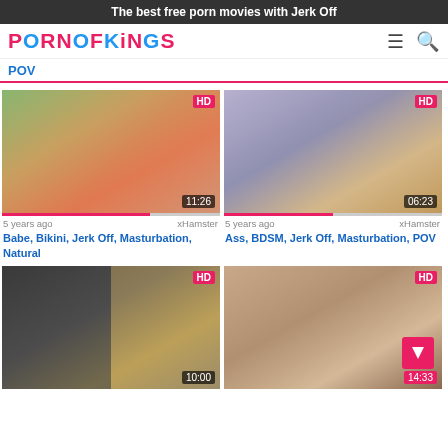The best free porn movies with Jerk Off
[Figure (logo): PornOfKings logo in pink and blue letters]
POV
[Figure (screenshot): Video thumbnail 1 - woman in orange bikini outdoors, duration 11:26, HD badge]
5 years ago   xHamster
Babe, Bikini, Jerk Off, Masturbation, Natural
[Figure (screenshot): Video thumbnail 2 - woman with glasses lying down, duration 06:23, HD badge]
5 years ago   xHamster
Ass, BDSM, Jerk Off, Masturbation, POV
[Figure (screenshot): Video thumbnail 3 - collage of women, duration 10:00, HD badge]
[Figure (screenshot): Video thumbnail 4 - blonde woman, duration 14:33, HD badge]